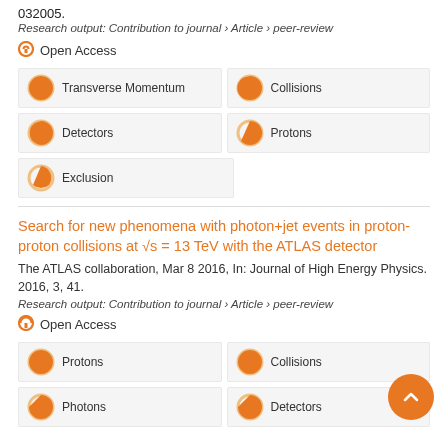032005.
Research output: Contribution to journal › Article › peer-review
Open Access
Transverse Momentum
Collisions
Detectors
Protons
Exclusion
Search for new phenomena with photon+jet events in proton-proton collisions at √s = 13 TeV with the ATLAS detector
The ATLAS collaboration, Mar 8 2016, In: Journal of High Energy Physics. 2016, 3, 41.
Research output: Contribution to journal › Article › peer-review
Open Access
Protons
Collisions
Photons
Detectors